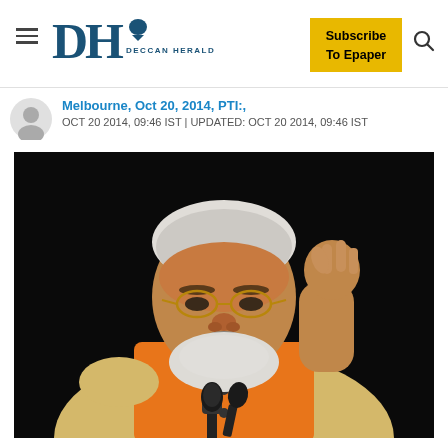DH Deccan Herald — Subscribe To Epaper
Melbourne, Oct 20, 2014, PTI:,
OCT 20 2014, 09:46 IST | UPDATED: OCT 20 2014, 09:46 IST
[Figure (photo): A man in an orange and cream traditional Indian kurta making a gesture with one hand near a microphone, against a dark background.]